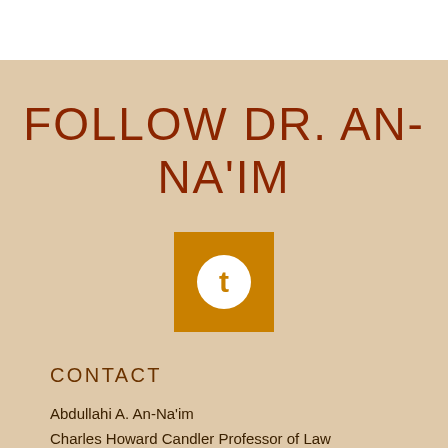FOLLOW DR. AN-NA'IM
[Figure (logo): Orange square with white circle containing a lowercase letter t (Twitter/social media icon)]
CONTACT
Abdullahi A. An-Na'im
Charles Howard Candler Professor of Law
Emory University
1301 Clifton Road Atlanta, Georgia 30322-2770 USA